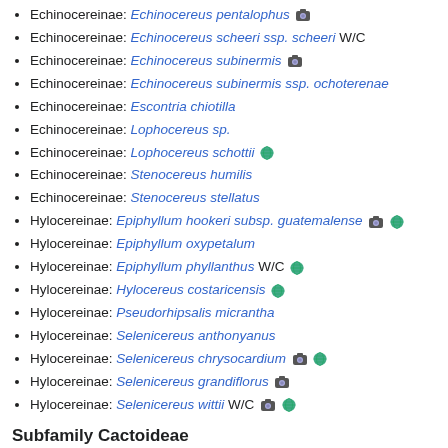Echinocereinae: Echinocereus pentalophus [camera icon]
Echinocereinae: Echinocereus scheeri ssp. scheeri W/C
Echinocereinae: Echinocereus subinermis [camera icon]
Echinocereinae: Echinocereus subinermis ssp. ochoterenae
Echinocereinae: Escontria chiotilla
Echinocereinae: Lophocereus sp.
Echinocereinae: Lophocereus schottii [globe icon]
Echinocereinae: Stenocereus humilis
Echinocereinae: Stenocereus stellatus
Hylocereinae: Epiphyllum hookeri subsp. guatemalense [camera icon] [globe icon]
Hylocereinae: Epiphyllum oxypetalum
Hylocereinae: Epiphyllum phyllanthus W/C [globe icon]
Hylocereinae: Hylocereus costaricensis [globe icon]
Hylocereinae: Pseudorhipsalis micrantha
Hylocereinae: Selenicereus anthonyanus
Hylocereinae: Selenicereus chrysocardium [camera icon] [globe icon]
Hylocereinae: Selenicereus grandiflorus [camera icon]
Hylocereinae: Selenicereus wittii W/C [camera icon] [globe icon]
Subfamily Cactoideae
Tribe Rhipsalideae
Hatiora cylindrica [globe icon]